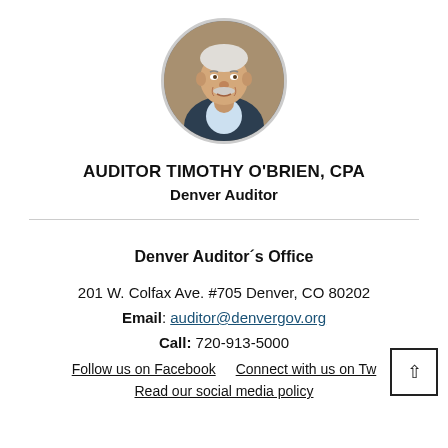[Figure (photo): Circular headshot photo of Auditor Timothy O'Brien, an older man with white hair and a mustache wearing a dark suit.]
AUDITOR TIMOTHY O'BRIEN, CPA
Denver Auditor
Denver Auditorʼs Office
201 W. Colfax Ave. #705 Denver, CO 80202
Email: auditor@denvergov.org
Call: 720-913-5000
Follow us on Facebook    Connect with us on Tw…
Read our social media policy